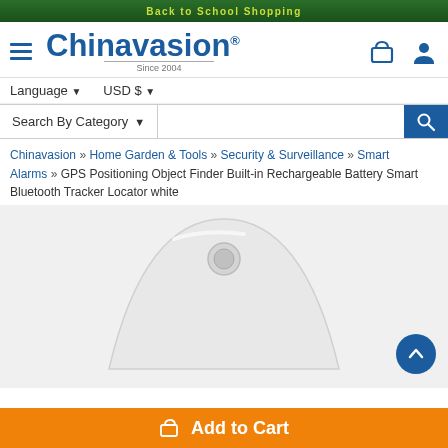Back to School Shopping
[Figure (logo): Chinavasion logo with hamburger menu icon, Since 2004 tagline, cart and user icons]
Language ▼   USD $ ▼
Search By Category ▼
Chinavasion » Home Garden & Tools » Security & Surveillance » Smart Alarms » GPS Positioning Object Finder Built-in Rechargeable Battery Smart Bluetooth Tracker Locator white
[Figure (photo): White triangular/shield-shaped Bluetooth tracker device with a hole at the top for attachment]
Add to Cart